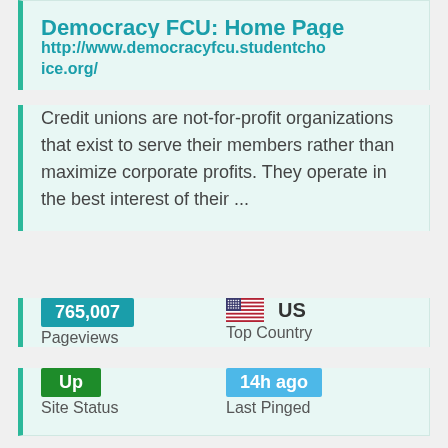Democracy FCU: Home Page
http://www.democracyfcu.studentchoice.org/
Credit unions are not-for-profit organizations that exist to serve their members rather than maximize corporate profits. They operate in the best interest of their ...
765,007
Pageviews
US
Top Country
Up
Site Status
14h ago
Last Pinged
[Figure (screenshot): Screenshot of WalletHub page showing Democracy Federal Credit Union listing with logo and star rating]